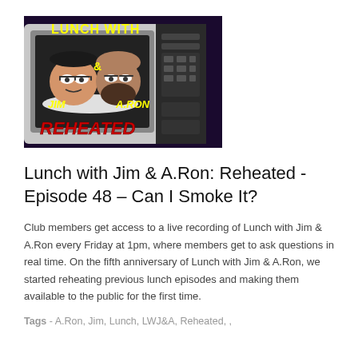[Figure (photo): Podcast thumbnail image showing 'Lunch with Jim & A.Ron Reheated' with two men's faces displayed inside a microwave, with bold yellow and red text.]
Lunch with Jim & A.Ron: Reheated - Episode 48 – Can I Smoke It?
Club members get access to a live recording of Lunch with Jim & A.Ron every Friday at 1pm, where members get to ask questions in real time. On the fifth anniversary of Lunch with Jim & A.Ron, we started reheating previous lunch episodes and making them available to the public for the first time.
Tags - A.Ron, Jim, Lunch, LWJ&A, Reheated, ,